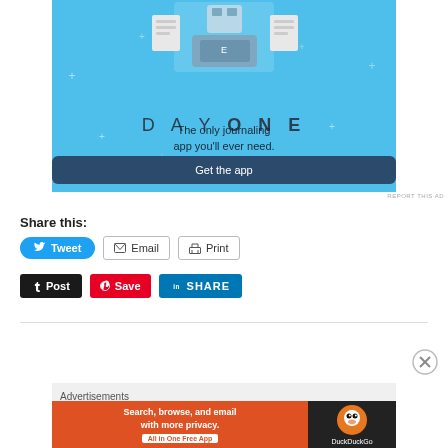[Figure (illustration): Day One journaling app advertisement banner with light blue background, cartoon figure holding a phone, text 'DAY ONE - The only journaling app you'll ever need.' and a dark blue 'Get the app' button]
REPORT THIS AD
Share this:
[Figure (other): Tweet button (blue rounded), Email button (gray border), Print button (gray border)]
[Figure (other): Post button (black), Save button (red/Pinterest), Share button (LinkedIn blue)]
[Figure (other): Like button with star icon]
Advertisements
[Figure (other): DuckDuckGo advertisement: Search, browse, and email with more privacy. All in One Free App. DuckDuckGo logo on dark background.]